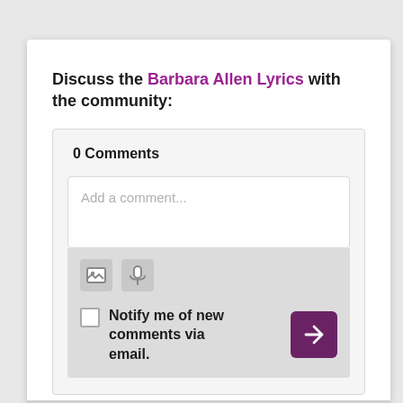Discuss the Barbara Allen Lyrics with the community:
0 Comments
Add a comment...
Notify me of new comments via email.